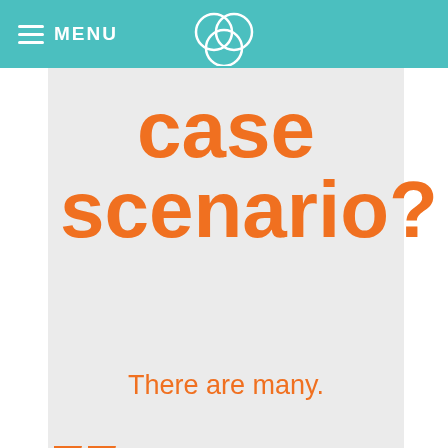MENU
case scenario?
There are many.
[Figure (illustration): Orange decorative quotation mark graphic at bottom-left of main content box]
The...